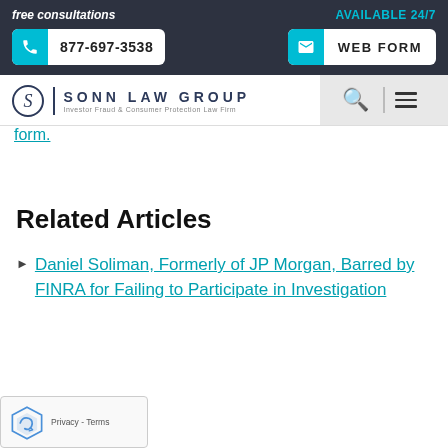free consultations | AVAILABLE 24/7 | 877-697-3538 | WEB FORM
[Figure (logo): Sonn Law Group logo - Investor Fraud & Consumer Protection Law Firm]
form.
Related Articles
Daniel Soliman, Formerly of JP Morgan, Barred by FINRA for Failing to Participate in Investigation